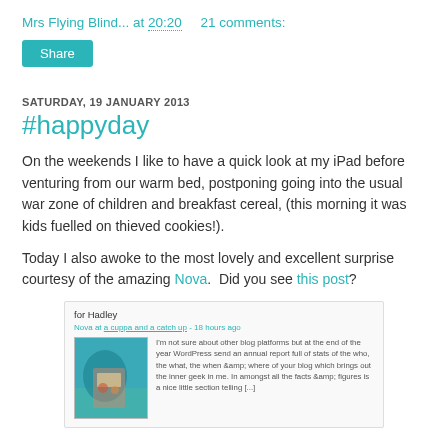Mrs Flying Blind... at 20:20    21 comments:
Share
SATURDAY, 19 JANUARY 2013
#happyday
On the weekends I like to have a quick look at my iPad before venturing from our warm bed, postponing going into the usual war zone of children and breakfast cereal, (this morning it was kids fuelled on thieved cookies!).
Today I also awoke to the most lovely and excellent surprise courtesy of the amazing Nova.  Did you see this post?
[Figure (screenshot): Screenshot of a blog comment or notification showing 'for Hadley' text, a Nova at a cuppa and a catch up post from 18 hours ago, with a small image of a teal/blue background with a floral bag]